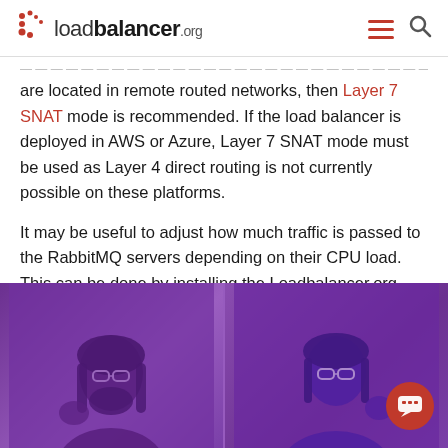loadbalancer.org
are located in remote routed networks, then Layer 7 SNAT mode is recommended. If the load balancer is deployed in AWS or Azure, Layer 7 SNAT mode must be used as Layer 4 direct routing is not currently possible on these platforms.
It may be useful to adjust how much traffic is passed to the RabbitMQ servers depending on their CPU load. This can be done by installing the Loadbalancer.org server feedback agent on each RabbitMQ server and then re-configuring the Virtual Service to make use of the agent. The feedback agent is available for both Linux and Windows servers.
[Figure (photo): Purple-tinted split photo showing two people (a bearded man on the left and a woman with glasses on the right) with a red chat button overlay in the bottom-right corner]